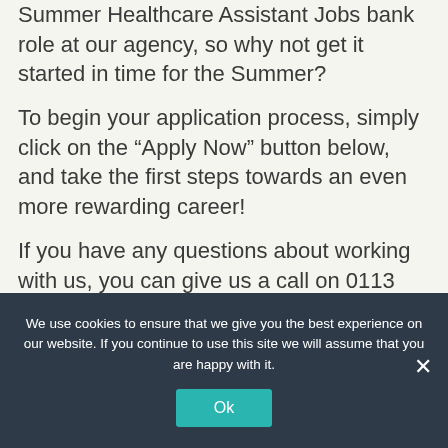Summer Healthcare Assistant Jobs bank role at our agency, so why not get it started in time for the Summer?
To begin your application process, simply click on the “Apply Now” button below, and take the first steps towards an even more rewarding career!
If you have any questions about working with us, you can give us a call on 0113 877 6383 – our team are available every day, between 6 am and 10.30 pm.
We use cookies to ensure that we give you the best experience on our website. If you continue to use this site we will assume that you are happy with it.